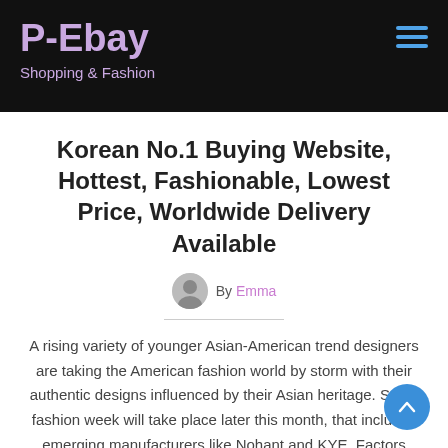P-Ebay — Shopping & Fashion
Korean No.1 Buying Website, Hottest, Fashionable, Lowest Price, Worldwide Delivery Available
By Emma
A rising variety of younger Asian-American trend designers are taking the American fashion world by storm with their authentic designs influenced by their Asian heritage. Seoul fashion week will take place later this month, that includes emerging manufacturers like Nohant and KYE. Factors which